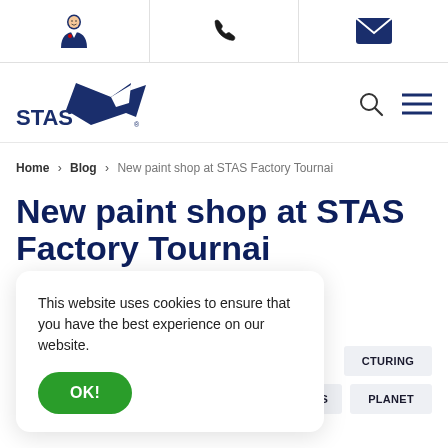[Figure (illustration): Top utility bar with three icons: person/advisor icon, phone icon, and email/envelope icon]
[Figure (logo): STAS logo with dark blue stylized wing/bird shape and STAS text, plus search and hamburger menu icons]
Home > Blog > New paint shop at STAS Factory Tournai
New paint shop at STAS Factory Tournai
This website uses cookies to ensure that you have the best experience on our website.
OK!
CTURING
S
PLANET